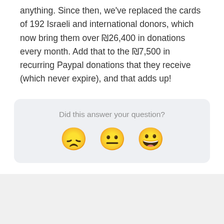anything. Since then, we've replaced the cards of 192 Israeli and international donors, which now bring them over ₪26,400 in donations every month. Add that to the ₪7,500 in recurring Paypal donations that they receive (which never expire), and that adds up!
Did this answer your question?
[Figure (other): Three emoji faces representing negative, neutral, and positive reactions: disappointed face, neutral face, grinning face with big eyes]